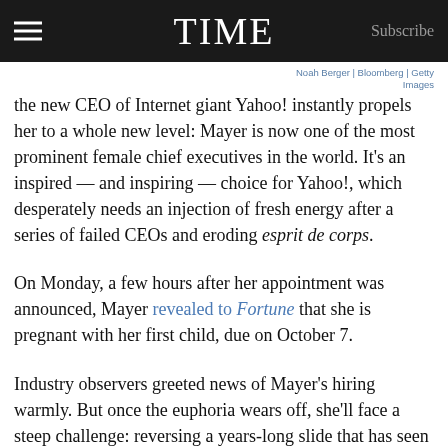TIME  Subscribe
Noah Berger / Bloomberg / Getty Images
the new CEO of Internet giant Yahoo! instantly propels her to a whole new level: Mayer is now one of the most prominent female chief executives in the world. It’s an inspired — and inspiring — choice for Yahoo!, which desperately needs an injection of fresh energy after a series of failed CEOs and eroding esprit de corps.
On Monday, a few hours after her appointment was announced, Mayer revealed to Fortune that she is pregnant with her first child, due on October 7.
Industry observers greeted news of Mayer’s hiring warmly. But once the euphoria wears off, she’ll face a steep challenge: reversing a years-long slide that has seen the onetime Internet